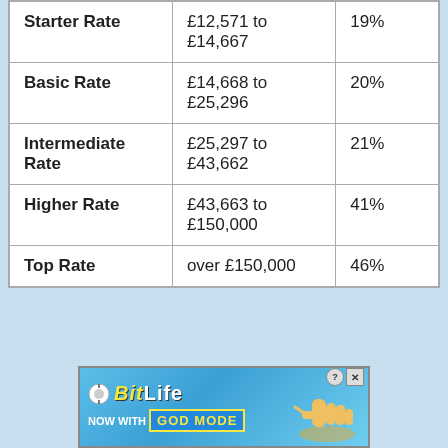|  | Income Range | Rate |
| --- | --- | --- |
| Starter Rate | £12,571 to £14,667 | 19% |
| Basic Rate | £14,668 to £25,296 | 20% |
| Intermediate Rate | £25,297 to £43,662 | 21% |
| Higher Rate | £43,663 to £150,000 | 41% |
| Top Rate | over £150,000 | 46% |
[Figure (other): BitLife advertisement banner — 'NOW WITH GOD MODE' with cartoon hand graphic]